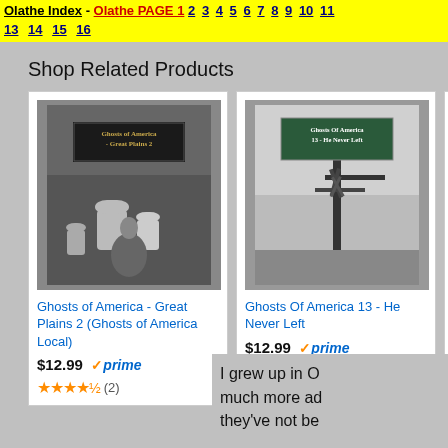Olathe Index - Olathe PAGE 1 2 3 4 5 6 7 8 9 10 11 13 14 15 16
Shop Related Products
[Figure (photo): Book cover: Ghosts of America - Great Plains 2, black and white cemetery scene]
Ghosts of America - Great Plains 2 (Ghosts of America Local)
$12.99 ✓prime
★★★★½ (2)
[Figure (photo): Book cover: Ghosts Of America 13 - He Never Left, black and white bare tree scene]
Ghosts Of America 13 - He Never Left
$12.99 ✓prime
★★★★★ (8)
I grew up in O much more ad they've not be